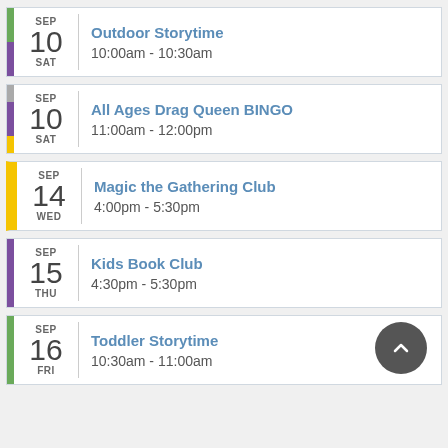SEP 10 SAT | Outdoor Storytime | 10:00am - 10:30am
SEP 10 SAT | All Ages Drag Queen BINGO | 11:00am - 12:00pm
SEP 14 WED | Magic the Gathering Club | 4:00pm - 5:30pm
SEP 15 THU | Kids Book Club | 4:30pm - 5:30pm
SEP 16 FRI | Toddler Storytime | 10:30am - 11:00am